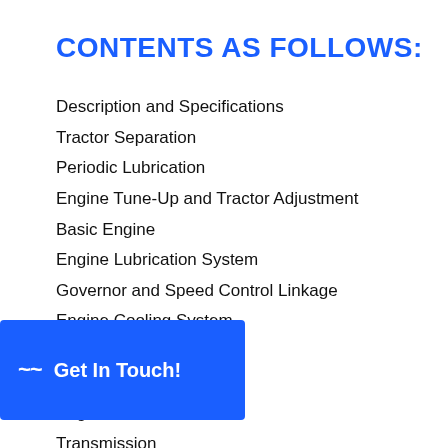CONTENTS AS FOLLOWS:
Description and Specifications
Tractor Separation
Periodic Lubrication
Engine Tune-Up and Tractor Adjustment
Basic Engine
Engine Lubrication System
Governor and Speed Control Linkage
Engine Cooling System.
Fuel Systems
Electrical System
Engine Clutch
Transmission
Hydraulic Direction Reverser
…g Clutches, and Brakes.
…tem.
Track System
Power Take-Off, Winch Drive, and Belt Pulley